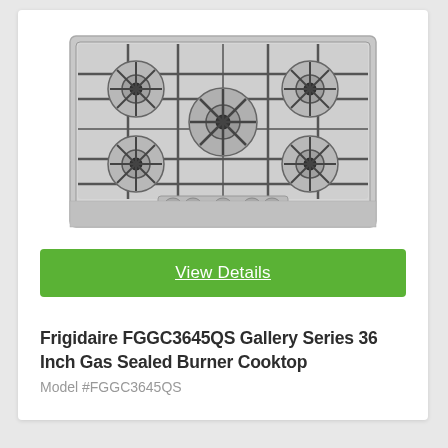[Figure (photo): Frigidaire FGGC3645QS stainless steel 36-inch gas cooktop with 5 sealed burners and cast iron grates, viewed from above at slight angle]
View Details
Frigidaire FGGC3645QS Gallery Series 36 Inch Gas Sealed Burner Cooktop
Model #FGGC3645QS